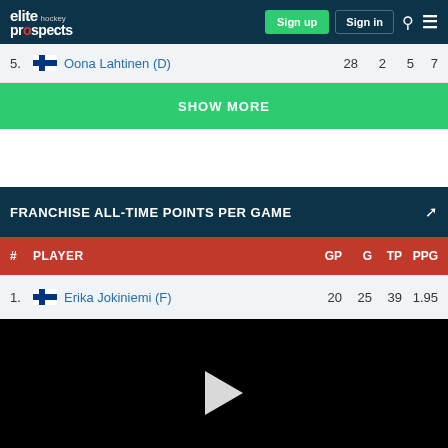elite hockey prospects — Sign up | Sign in
5. Oona Lahtinen (D)  28  2  5  7
SHOW MORE
FRANCHISE ALL-TIME POINTS PER GAME
| # | PLAYER | GP | G | TP | PPG |
| --- | --- | --- | --- | --- | --- |
| 1. | Erika Jokiniemi (F) | 20 | 25 | 39 | 1.95 |
[Figure (other): Black video player area with white play button triangle]